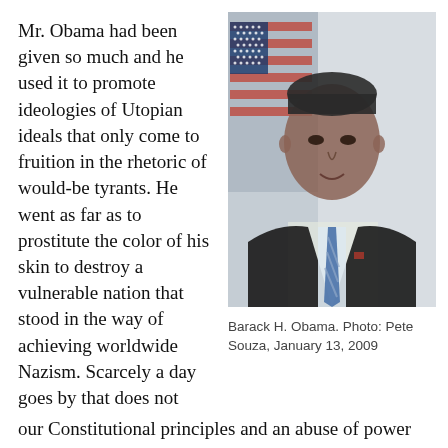Mr. Obama had been given so much and he used it to promote ideologies of Utopian ideals that only come to fruition in the rhetoric of would-be tyrants. He went as far as to prostitute the color of his skin to destroy a vulnerable nation that stood in the way of achieving worldwide Nazism. Scarcely a day goes by that does not reveal some new violation of our Constitutional principles and an abuse of power
[Figure (photo): Official portrait photograph of Barack H. Obama in a dark suit with blue striped tie, American flag in background]
Barack H. Obama. Photo: Pete Souza, January 13, 2009